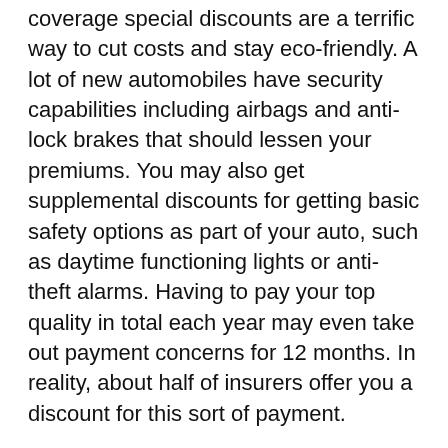coverage special discounts are a terrific way to cut costs and stay eco-friendly. A lot of new automobiles have security capabilities including airbags and anti-lock brakes that should lessen your premiums. You may also get supplemental discounts for getting basic safety options as part of your auto, such as daytime functioning lights or anti-theft alarms. Having to pay your top quality in total each year may even take out payment concerns for 12 months. In reality, about half of insurers offer you a discount for this sort of payment.
You might also be eligible for discounts should you've had your plan for various several years. These discounts differ dependant upon the length of time you have had your coverage, but a lot of organizations offer you bargains for becoming faithful to their shoppers. You could be suitable for a discount of as much as fifteen% if you purchase your plan a minimum of seven days before your renewal day. Besides these discount rates, some businesses even present special discounts to People in specific occupations. A on